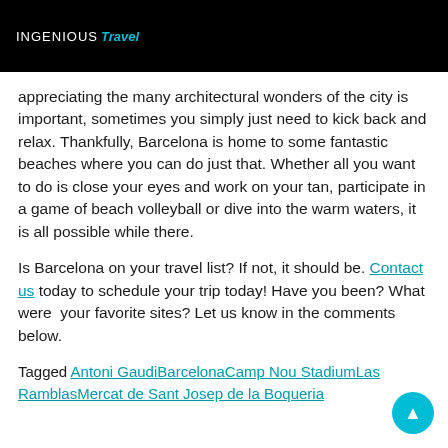INGENIOUS Travel
appreciating the many architectural wonders of the city is important, sometimes you simply just need to kick back and relax. Thankfully, Barcelona is home to some fantastic beaches where you can do just that. Whether all you want to do is close your eyes and work on your tan, participate in a game of beach volleyball or dive into the warm waters, it is all possible while there.
Is Barcelona on your travel list? If not, it should be. Contact us today to schedule your trip today! Have you been? What were your favorite sites? Let us know in the comments below.
Tagged Antoni GaudiBarcelonaCamp Nou StadiumLas RamblasMercat de Sant Josep de la Boqueria